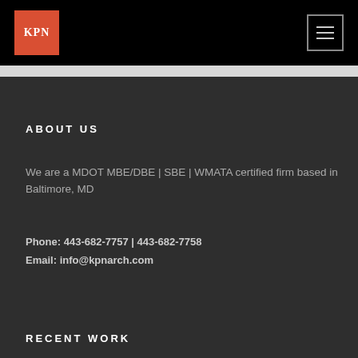[Figure (logo): KPN logo: red/orange square with white serif KPN text, on black header bar]
KPN
ABOUT US
We are a MDOT MBE/DBE | SBE | WMATA certified firm based in Baltimore, MD
Phone: 443-682-7757 | 443-682-7758
Email: info@kpnarch.com
RECENT WORK